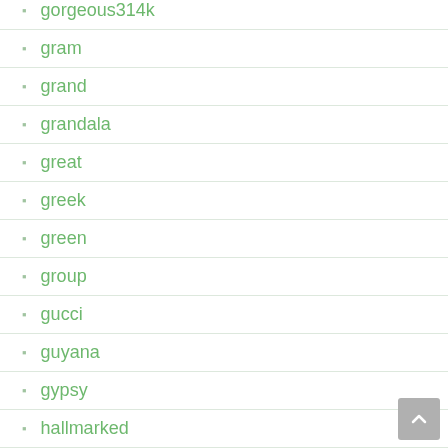gorgeous314k
gram
grand
grandala
great
greek
green
group
gucci
guyana
gypsy
hallmarked
hanadama
hand
hand-carved